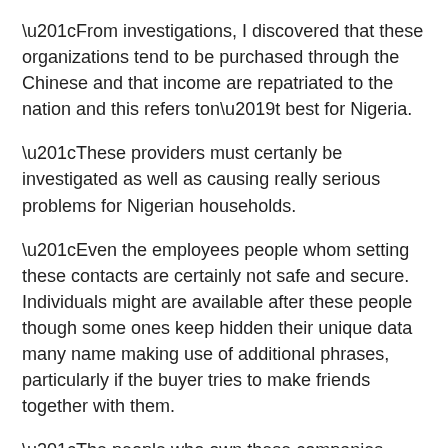“From investigations, I discovered that these organizations tend to be purchased through the Chinese and that income are repatriated to the nation and this refers ton’t best for Nigeria.
“These providers must certanly be investigated as well as causing really serious problems for Nigerian households.
“Even the employees people whom setting these contacts are certainly not safe and secure. Individuals might are available after these people though some ones keep hidden their unique data many name making use of additional phrases, particularly if the buyer tries to make friends together with them.
“The people who own these companies should go back in their unique countries even so the people will continue to be right here, they aren’t safe.”
Leave a Reply